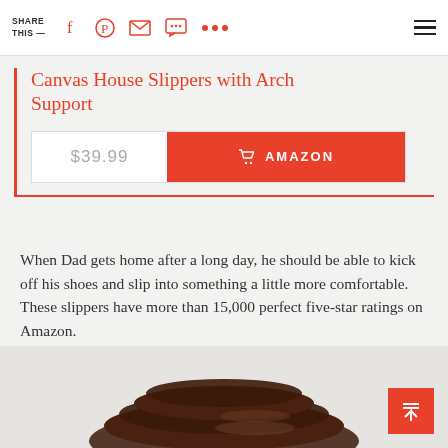SHARE THIS —
Canvas House Slippers with Arch Support
$39.99  🛒 AMAZON
When Dad gets home after a long day, he should be able to kick off his shoes and slip into something a little more comfortable. These slippers have more than 15,000 perfect five-star ratings on Amazon.
[Figure (photo): Partial view of a dark brown leather belt coiled against a light grey background]